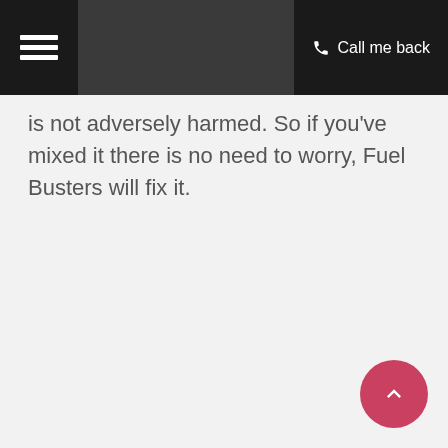☰  Call me back
is not adversely harmed. So if you've mixed it there is no need to worry, Fuel Busters will fix it.